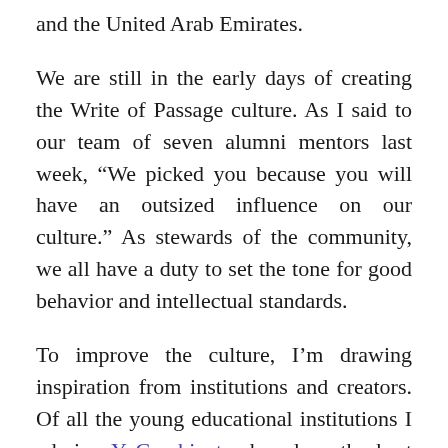and the United Arab Emirates.
We are still in the early days of creating the Write of Passage culture. As I said to our team of seven alumni mentors last week, “We picked you because you will have an outsized influence on our culture.” As stewards of the community, we all have a duty to set the tone for good behavior and intellectual standards.
To improve the culture, I’m drawing inspiration from institutions and creators. Of all the young educational institutions I admire, Y Combinator has done the best job attracting the right people for its goals. I’m particularly interested in the early cohorts, which attracted people like Brian Chesky and Patrick Collison, who went on to build Airbnb and Stripe respectively. Likewise, I want Write of Passage to be